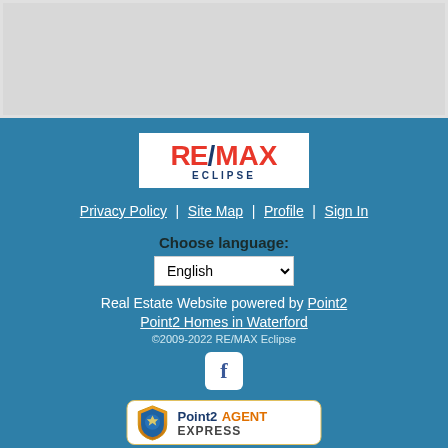[Figure (map): Grey map area placeholder]
[Figure (logo): RE/MAX Eclipse logo]
Privacy Policy | Site Map | Profile | Sign In
Choose language:
Real Estate Website powered by Point2
Point2 Homes in Waterford
©2009-2022 RE/MAX Eclipse
[Figure (logo): Facebook icon]
[Figure (logo): Point2 Agent Express badge]